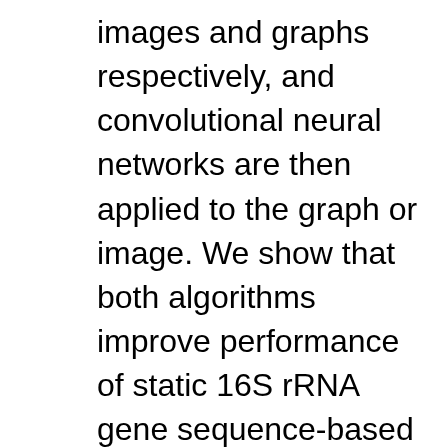images and graphs respectively, and convolutional neural networks are then applied to the graph or image. We show that both algorithms improve performance of static 16S rRNA gene sequence-based machine learning compared to the best state-of-the-art methods. Furthermore, these methods ease the interpretation of the classifiers. iMic is